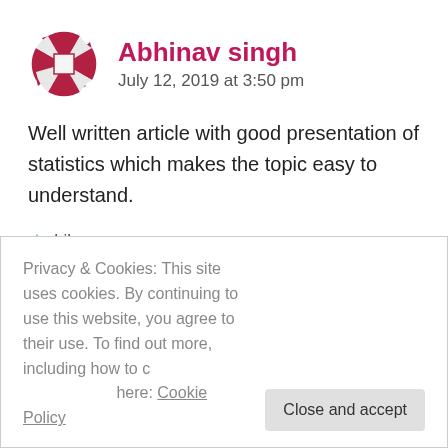Abhinav singh
July 12, 2019 at 3:50 pm
Well written article with good presentation of statistics which makes the topic easy to understand.
Like
Reply
Ankeer Kulkarni
Privacy & Cookies: This site uses cookies. By continuing to use this website, you agree to their use. To find out more, including how to control cookies, see here: Cookie Policy
Close and accept